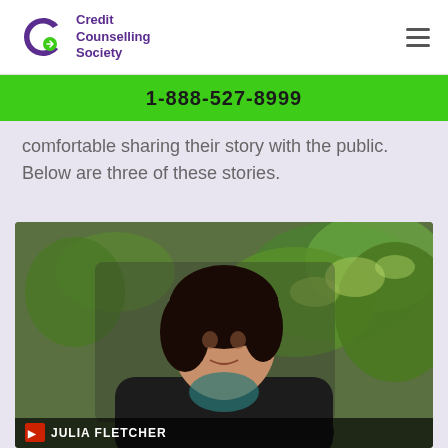Credit Counselling Society | 1-888-527-8999
comfortable sharing their story with the public. Below are three of these stories.
[Figure (photo): Video screenshot of Julia Fletcher, a woman with dark hair wearing a black jacket, seated in front of green leafy plants. A lower-third chyron reads 'JULIA FLETCHER'.]